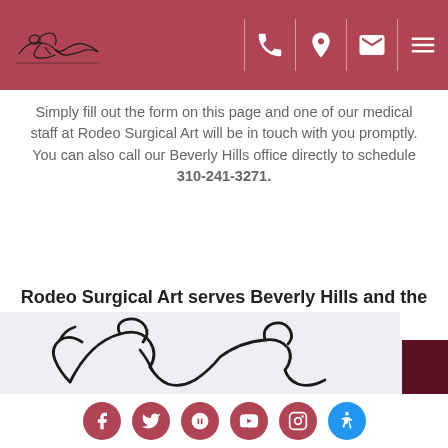Rodeo Surgical Art - navigation header with logo, phone, location, email, menu icons
Simply fill out the form on this page and one of our medical staff at Rodeo Surgical Art will be in touch with you promptly. You can also call our Beverly Hills office directly to schedule 310-241-3271.
Rodeo Surgical Art serves Beverly Hills and the surrounding area.
*Individual Results May Vary
[Figure (illustration): Line illustration of reclining female figure, logo style artwork for Rodeo Surgical Art]
Social media icons: Facebook, Twitter, Yelp, YouTube, Instagram, Accessibility button